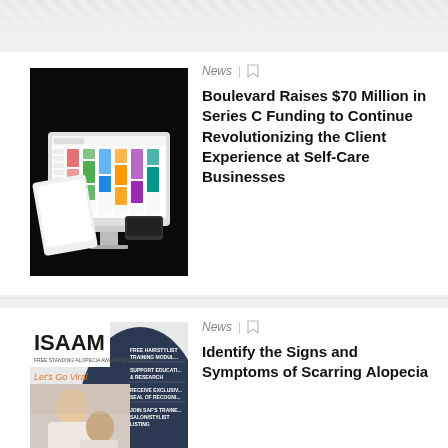[Figure (photo): Diagonal stripe pattern background at top of page]
[Figure (photo): Computer monitor displaying colorful scheduling software interface on black background]
News
Boulevard Raises $70 Million in Series C Funding to Continue Revolutionizing the Client Experience at Self-Care Businesses
[Figure (photo): ISAAM awareness month promotional image with hairstylist and SAF sponsor logo, showing free hairstylist training module, support education & research, receive exclusive seal of recognition, join SAF's trainer salon/stylist listing]
News
Identify the Signs and Symptoms of Scarring Alopecia